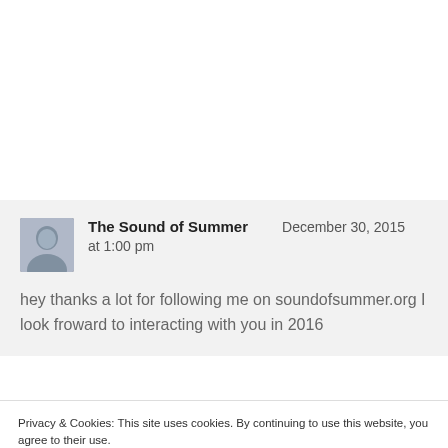[Figure (photo): Avatar photo of a person (The Sound of Summer blog author)]
The Sound of Summer   December 30, 2015 at 1:00 pm
hey thanks a lot for following me on soundofsummer.org I look froward to interacting with you in 2016
Privacy & Cookies: This site uses cookies. By continuing to use this website, you agree to their use.
To find out more, including how to control cookies, see here: Cookie Policy
Close and accept